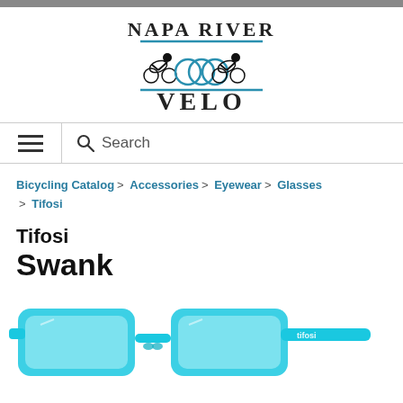[Figure (logo): Napa River Velo logo with cyclists silhouette and teal accent lines]
Search
Bicycling Catalog > Accessories > Eyewear > Glasses > Tifosi
Tifosi Swank
[Figure (photo): Tifosi Swank sunglasses in teal/blue color, shown from a slightly elevated angle against white background]